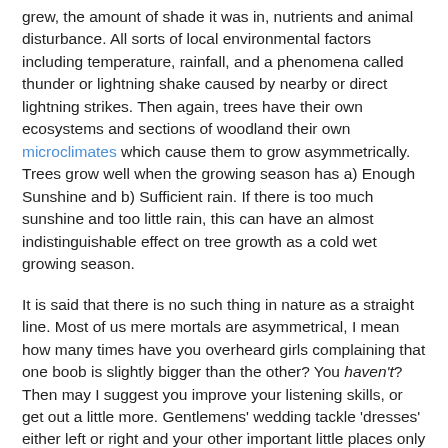grew, the amount of shade it was in, nutrients and animal disturbance. All sorts of local environmental factors including temperature, rainfall, and a phenomena called thunder or lightning shake caused by nearby or direct lightning strikes. Then again, trees have their own ecosystems and sections of woodland their own microclimates which cause them to grow asymmetrically. Trees grow well when the growing season has a) Enough Sunshine and b) Sufficient rain. If there is too much sunshine and too little rain, this can have an almost indistinguishable effect on tree growth as a cold wet growing season.
It is said that there is no such thing in nature as a straight line. Most of us mere mortals are asymmetrical, I mean how many times have you overheard girls complaining that one boob is slightly bigger than the other? You haven't? Then may I suggest you improve your listening skills, or get out a little more. Gentlemens' wedding tackle 'dresses' either left or right and your other important little places only look truly symmetrical with some discrete work with a good camera and some photoshop. So it is with trees.